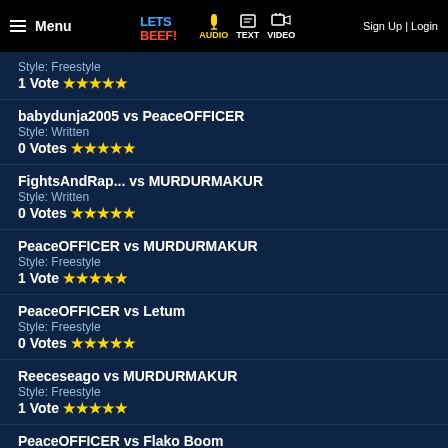Menu | LETS BEEF | AUDIO | TEXT | VIDEO | Sign Up | Login
Style: Freestyle
1 Vote ★★★★★
babydunja2005 vs PeaceOFFICER
Style: Written
0 Votes ★★★★★
FightsAndRap... vs MURDURMAKUR
Style: Written
0 Votes ★★★★★
PeaceOFFICER vs MURDURMAKUR
Style: Freestyle
1 Vote ★★★★★
PeaceOFFICER vs Letum
Style: Freestyle
0 Votes ★★★★★
Reeceseago vs MURDURMAKUR
Style: Freestyle
1 Vote ★★★★★
PeaceOFFICER vs Flako Boom
Style: Freestyle
1 Vote ★★★★★
FightsAndRap... vs The Good... (cut off)